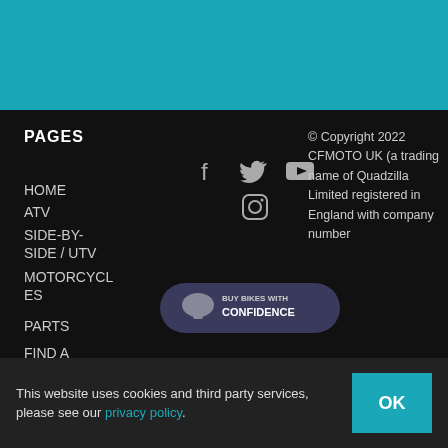[Figure (screenshot): Teal header banner at top of page]
PAGES
HOME
ATV
SIDE-BY-SIDE / UTV
MOTORCYCLES
PARTS
FIND A
[Figure (illustration): Social media icons: Facebook, Twitter, YouTube, Instagram]
[Figure (logo): Buy Bikes With Confidence badge]
[Figure (illustration): Payment icons: Visa, Mastercard, Discover, JCB]
© Copyright 2022 CFMOTO UK (a trading name of Quadzilla Limited registered in England with company number
This website uses cookies and third party services, please see our privacy policy.
OK